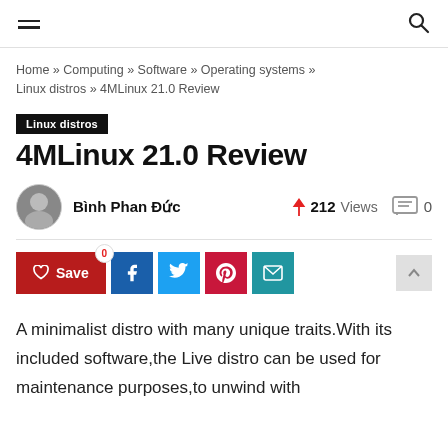Navigation bar with hamburger menu and search icon
Home » Computing » Software » Operating systems » Linux distros » 4MLinux 21.0 Review
Linux distros
4MLinux 21.0 Review
Bình Phan Đức  212 Views  0
[Figure (other): Social sharing buttons: Save (heart), Facebook, Twitter, Pinterest, Email]
A minimalist distro with many unique traits.With its included software,the Live distro can be used for maintenance purposes,to unwind with